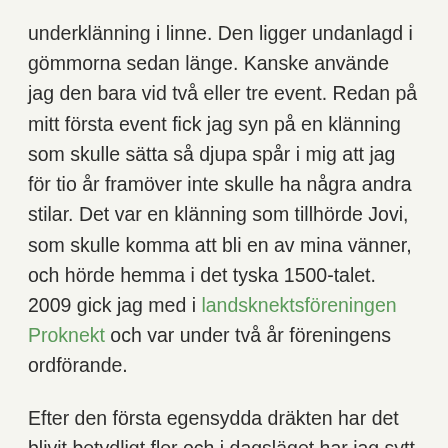underklänning i linne. Den ligger undanlagd i gömmorna sedan länge. Kanske använde jag den bara vid två eller tre event. Redan på mitt första event fick jag syn på en klänning som skulle sätta så djupa spår i mig att jag för tio år framöver inte skulle ha några andra stilar. Det var en klänning som tillhörde Jovi, som skulle komma att bli en av mina vänner, och hörde hemma i det tyska 1500-talet. 2009 gick jag med i landsknektsföreningen Proknekt och var under två år föreningens ordförande.
Efter den första egensydda dräkten har det blivit betydligt fler och i dagsläget har jag sytt 10 klänningar i samma stil. Det har varit min egen utveckling, en strävan efter att hela tiden förbättra kläderna, utan att för delen ha en önskan om att forska djupare. I början var klänningarna inspirerade av andra klänningar jag sett och med tiden har jag för varje klänning gjort en